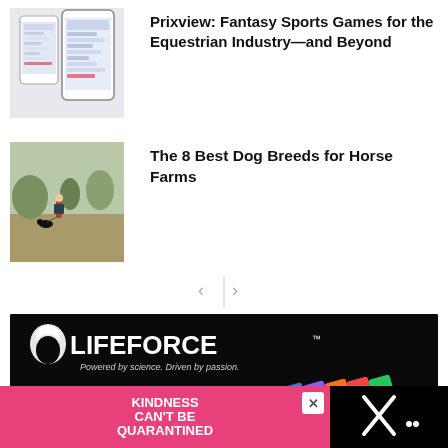[Figure (screenshot): App screenshot mockup showing mobile phone screens with UI]
Prixview: Fantasy Sports Games for the Equestrian Industry—and Beyond
[Figure (photo): Person walking a dog in a field]
The 8 Best Dog Breeds for Horse Farms
[Figure (other): Navigation arrows with vertical divider]
[Figure (photo): Lifeforce Premium Equine Supplements advertisement with logo, tagline, colored stripes, and product images]
[Figure (other): Kindness Can't Be Quarantined pink banner ad with close button]